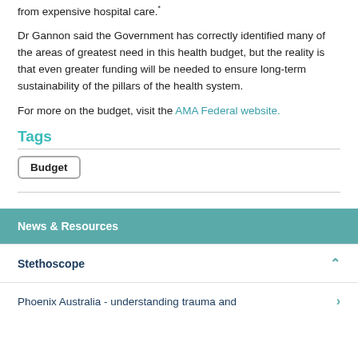from expensive hospital care.
Dr Gannon said the Government has correctly identified many of the areas of greatest need in this health budget, but the reality is that even greater funding will be needed to ensure long-term sustainability of the pillars of the health system.
For more on the budget, visit the AMA Federal website.
Tags
Budget
News & Resources
Stethoscope
Phoenix Australia - understanding trauma and